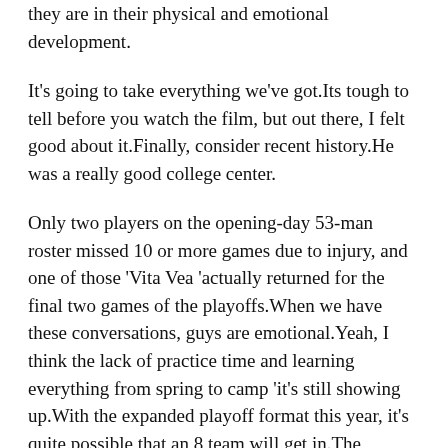they are in their physical and emotional development.
It's going to take everything we've got.Its tough to tell before you watch the film, but out there, I felt good about it.Finally, consider recent history.He was a really good college center.
Only two players on the opening-day 53-man roster missed 10 or more games due to injury, and one of those ‘Vita Vea ‘actually returned for the final two games of the playoffs.When we have these conversations, guys are emotional.Yeah, I think the lack of practice time and learning everything from spring to camp ‘it's still showing up.With the expanded playoff format this year, it's quite possible that an 8 team will get in.The Washington secondary has allowed 10 touchdowns to WRs this season, at an average distance of 34 yards.